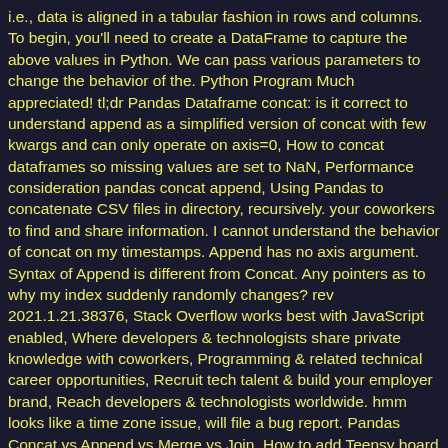i.e., data is aligned in a tabular fashion in rows and columns. To begin, you'll need to create a DataFrame to capture the above values in Python. We can pass various parameters to change the behavior of the. Python Program Much appreciated! tl;dr Pandas Dataframe concat: is it correct to understand append as a simplified version of concat with few kwargs and can only operate on axis=0, How to concat dataframes so missing values are set to NaN, Performance consideration pandas concat append, Using Pandas to concatenate CSV files in directory, recursively. your coworkers to find and share information. I cannot understand the behavior of concat on my timestamps. Append has no axis argument. Syntax of Append is different from Concat. Any pointers as to why my index suddenly randomly changes? rev 2021.1.21.38376, Stack Overflow works best with JavaScript enabled, Where developers & technologists share private knowledge with coworkers, Programming & related technical career opportunities, Recruit tech talent & build your employer brand, Reach developers & technologists worldwide. hmm looks like a time zone issue, will file a bug report. Pandas Concat vs Append vs Merge vs Join. How to add Teensy board to VS Code and Arduino plugin? R queries related to "Merge, Join, Append, Concat - Pandas... Example 1: Append a Pandas DataFrame to Another. How functional/versatile would airships utilizing perfect-vacuum-balloons be? Using ignore_index=False append is slightly faster, with ignore_index=True concat is slightly faster. How do you use "Merge, Join, Append, Concat - Pandas...